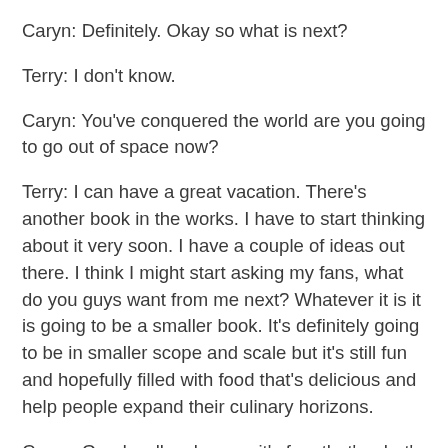Caryn: Definitely. Okay so what is next?
Terry: I don't know.
Caryn: You've conquered the world are you going to go out of space now?
Terry: I can have a great vacation. There's another book in the works. I have to start thinking about it very soon. I have a couple of ideas out there. I think I might start asking my fans, what do you guys want from me next? Whatever it is it is going to be a smaller book. It's definitely going to be in smaller scope and scale but it's still fun and hopefully filled with food that's delicious and help people expand their culinary horizons.
Caryn: Good well as long as it's fun, that's what's important.
Terry: Yeah.
Caryn: Importat – fun and savoring, I like this: I like the way you say “International Recipes for Savoring the Planet". That's a very nice play on words, because so many of us are always saving...